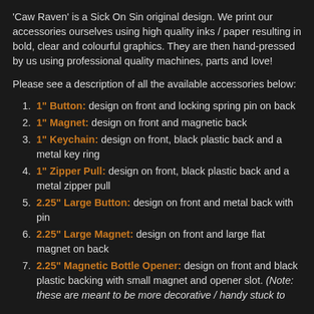'Caw Raven' is a Sick On Sin original design. We print our accessories ourselves using high quality inks / paper resulting in bold, clear and colourful graphics. They are then hand-pressed by us using professional quality machines, parts and love!
Please see a description of all the available accessories below:
1" Button: design on front and locking spring pin on back
1" Magnet: design on front and magnetic back
1" Keychain: design on front, black plastic back and a metal key ring
1" Zipper Pull: design on front, black plastic back and a metal zipper pull
2.25" Large Button: design on front and metal back with pin
2.25" Large Magnet: design on front and large flat magnet on back
2.25" Magnetic Bottle Opener: design on front and black plastic backing with small magnet and opener slot. (Note: these are meant to be more decorative / handy stuck to